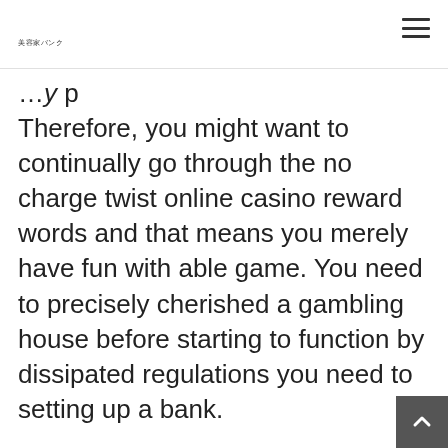美容家バンク
Therefore, you might want to continually go through the no charge twist online casino reward words and that means you merely have fun with able game. You need to precisely cherished a gambling house before starting to function by dissipated regulations you need to setting up a bank.
Incentive About $a person,000
Deal the idea will give you a legitimate convenience using as well as a fabulous